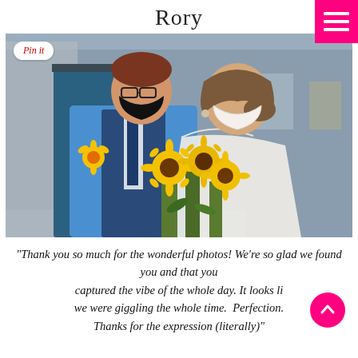Rory
[Figure (photo): A couple standing outside. The groom wears a blue suit and black face mask, with a yellow gerbera daisy boutonniere. The bride wears a white off-shoulder lace dress and a white lace face mask, holding a large bouquet of sunflowers. They stand in front of a blue door with stone architecture in the background.]
“Thank you so much for the wonderful photos! We’re so glad we found you and that you captured the vibe of the whole day. It looks like we were giggling the whole time.  Perfection.  Thanks for the expression (literally)